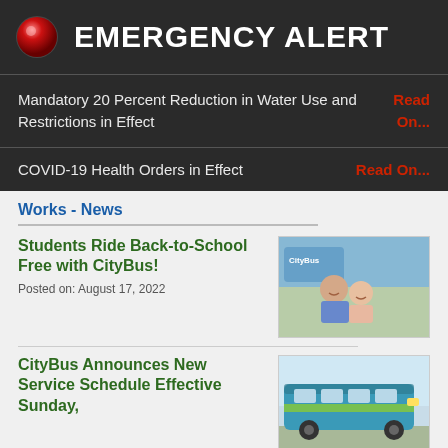EMERGENCY ALERT
Mandatory 20 Percent Reduction in Water Use and Restrictions in Effect Read On...
COVID-19 Health Orders in Effect Read On...
Works - News
Students Ride Back-to-School Free with CityBus!
Posted on: August 17, 2022
[Figure (photo): Two young women smiling on a CityBus, with bus branding visible in background]
CityBus Announces New Service Schedule Effective Sunday,
[Figure (photo): A green and blue CityBus transit bus photographed outdoors]